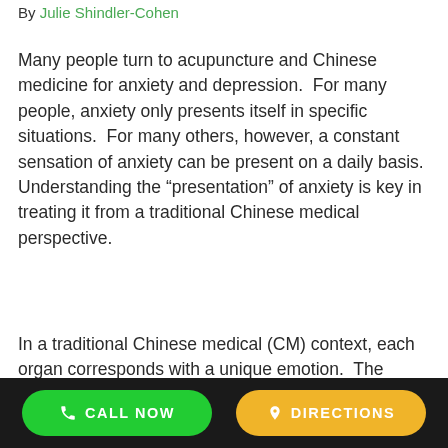By Julie Shindler-Cohen
Many people turn to acupuncture and Chinese medicine for anxiety and depression.  For many people, anxiety only presents itself in specific situations.  For many others, however, a constant sensation of anxiety can be present on a daily basis.  Understanding the “presentation” of anxiety is key in treating it from a traditional Chinese medical perspective.
In a traditional Chinese medical (CM) context, each organ corresponds with a unique emotion.  The emotions are as follows: Lung is grief, spleen is overthinking/worry, kidney is fear, liver is frustration/anger and heart is joy.  Although each
CALL NOW   DIRECTIONS